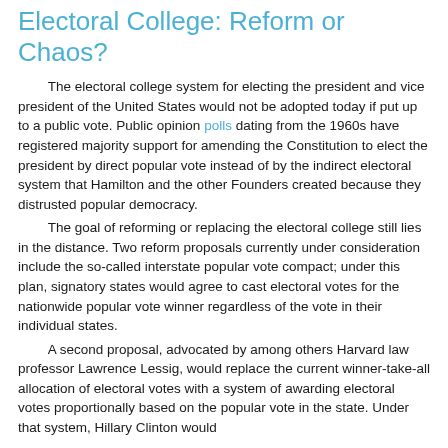Electoral College: Reform or Chaos?
The electoral college system for electing the president and vice president of the United States would not be adopted today if put up to a public vote. Public opinion polls dating from the 1960s have registered majority support for amending the Constitution to elect the president by direct popular vote instead of by the indirect electoral system that Hamilton and the other Founders created because they distrusted popular democracy.
The goal of reforming or replacing the electoral college still lies in the distance. Two reform proposals currently under consideration include the so-called interstate popular vote compact; under this plan, signatory states would agree to cast electoral votes for the nationwide popular vote winner regardless of the vote in their individual states.
A second proposal, advocated by among others Harvard law professor Lawrence Lessig, would replace the current winner-take-all allocation of electoral votes with a system of awarding electoral votes proportionally based on the popular vote in the state. Under that system, Hillary Clinton would